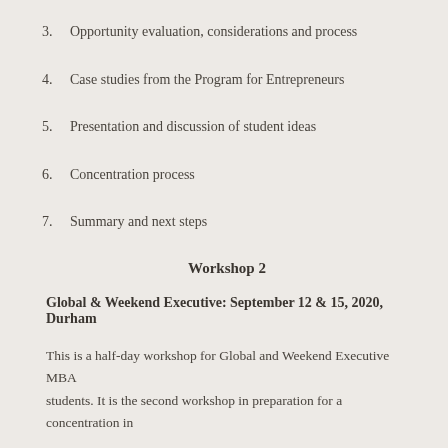3. Opportunity evaluation, considerations and process
4. Case studies from the Program for Entrepreneurs
5. Presentation and discussion of student ideas
6. Concentration process
7. Summary and next steps
Workshop 2
Global & Weekend Executive: September 12 & 15, 2020, Durham
This is a half-day workshop for Global and Weekend Executive MBA students. It is the second workshop in preparation for a concentration in